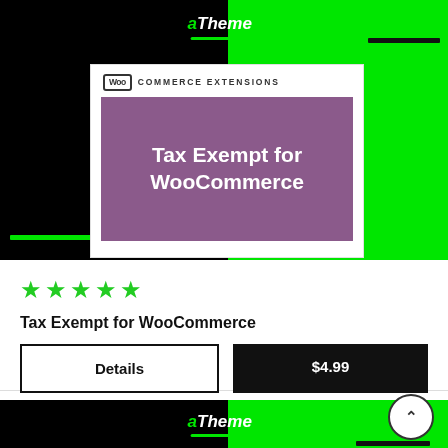[Figure (screenshot): aThemez branded product card showing WooCommerce Extensions - Tax Exempt for WooCommerce plugin with a purple background banner, on a split black/green background with rating stars and price button]
Tax Exempt for WooCommerce
$4.99